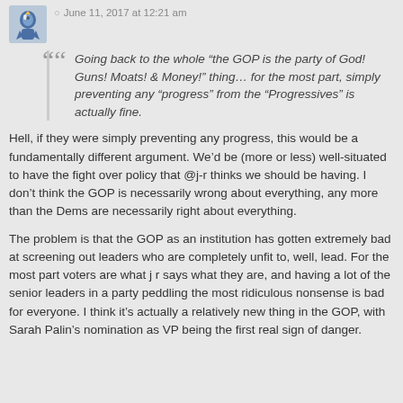June 11, 2017 at 12:21 am
Going back to the whole “the GOP is the party of God! Guns! Moats! & Money!” thing… for the most part, simply preventing any “progress” from the “Progressives” is actually fine.
Hell, if they were simply preventing any progress, this would be a fundamentally different argument. We’d be (more or less) well-situated to have the fight over policy that @j-r thinks we should be having. I don’t think the GOP is necessarily wrong about everything, any more than the Dems are necessarily right about everything.
The problem is that the GOP as an institution has gotten extremely bad at screening out leaders who are completely unfit to, well, lead. For the most part voters are what j r says what they are, and having a lot of the senior leaders in a party peddling the most ridiculous nonsense is bad for everyone. I think it’s actually a relatively new thing in the GOP, with Sarah Palin’s nomination as VP being the first real sign of danger.